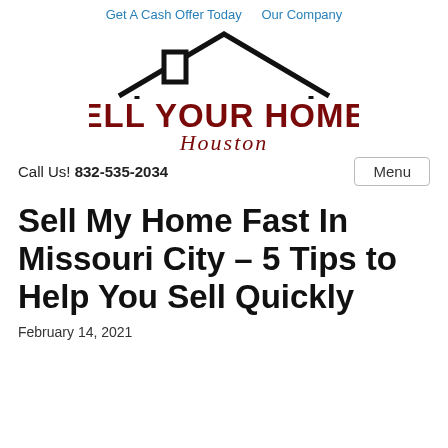Get A Cash Offer Today   Our Company
[Figure (logo): Sell Your Homes Houston logo with house outline above bold dark red text 'SELL YOUR HOMES' and cursive 'Houston' below]
Call Us! 832-535-2034
Sell My Home Fast In Missouri City – 5 Tips to Help You Sell Quickly
February 14, 2021